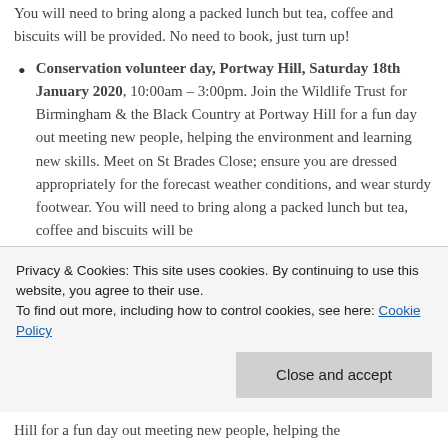You will need to bring along a packed lunch but tea, coffee and biscuits will be provided. No need to book, just turn up!
Conservation volunteer day, Portway Hill, Saturday 18th January 2020, 10:00am – 3:00pm. Join the Wildlife Trust for Birmingham & the Black Country at Portway Hill for a fun day out meeting new people, helping the environment and learning new skills. Meet on St Brades Close; ensure you are dressed appropriately for the forecast weather conditions, and wear sturdy footwear. You will need to bring along a packed lunch but tea, coffee and biscuits will be
Privacy & Cookies: This site uses cookies. By continuing to use this website, you agree to their use.
To find out more, including how to control cookies, see here: Cookie Policy
Hill for a fun day out meeting new people, helping the